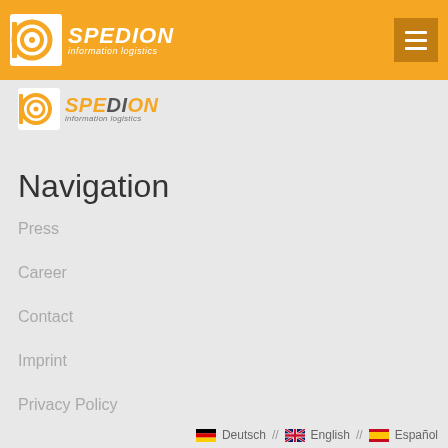[Figure (logo): Spedion information logistics logo in white on orange header bar, with spiral target icon]
[Figure (logo): Spedion information logistics logo in color (orange and grey) below header bar]
Navigation
Press
Career
Contact
Imprint
Privacy Policy
Deutsch // English // Español